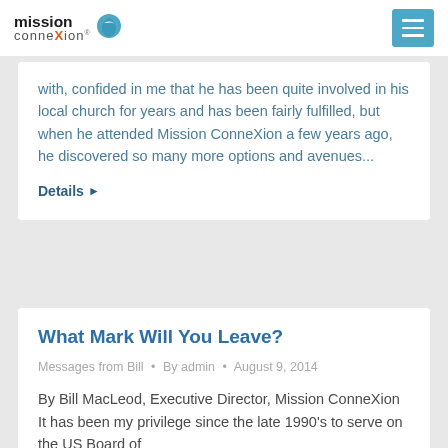mission connexion [logo + navigation]
with, confided in me that he has been quite involved in his local church for years and has been fairly fulfilled, but when he attended Mission ConneXion a few years ago, he discovered so many more options and avenues...
Details ▶
What Mark Will You Leave?
Messages from Bill · By admin · August 9, 2014
By Bill MacLeod, Executive Director, Mission ConneXion It has been my privilege since the late 1990's to serve on the US Board of